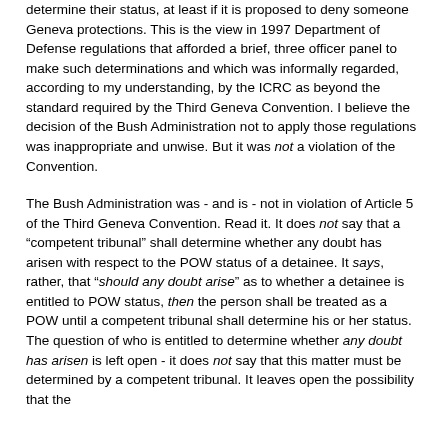determine their status, at least if it is proposed to deny someone Geneva protections. This is the view in 1997 Department of Defense regulations that afforded a brief, three officer panel to make such determinations and which was informally regarded, according to my understanding, by the ICRC as beyond the standard required by the Third Geneva Convention. I believe the decision of the Bush Administration not to apply those regulations was inappropriate and unwise. But it was not a violation of the Convention.
The Bush Administration was - and is - not in violation of Article 5 of the Third Geneva Convention. Read it. It does not say that a "competent tribunal" shall determine whether any doubt has arisen with respect to the POW status of a detainee. It says, rather, that "should any doubt arise" as to whether a detainee is entitled to POW status, then the person shall be treated as a POW until a competent tribunal shall determine his or her status. The question of who is entitled to determine whether any doubt has arisen is left open - it does not say that this matter must be determined by a competent tribunal. It leaves open the possibility that the